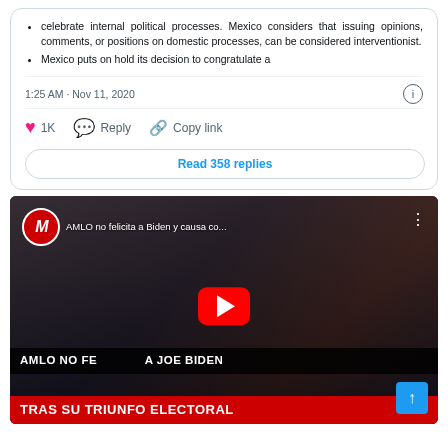celebrate internal political processes. Mexico considers that issuing opinions, comments, or positions on domestic processes, can be considered interventionist. Mexico puts on hold its decision to congratulate a
1:25 AM · Nov 11, 2020
1K   Reply   Copy link
Read 358 replies
[Figure (screenshot): YouTube video thumbnail showing two politicians shaking hands with Mexican and American flags in background. Title overlay reads 'AMLO NO FELICITA A JOE BIDEN TRAS SU TRIUNFO ELECTORAL'. Channel name: 'AMLO no felicita a Biden y causa co...']